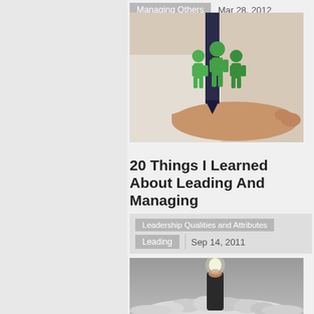Managing Others   Mar 28, 2012
[Figure (photo): Person in white shirt and dark tie holding out an open hand with three green human figure icons standing on it]
20 Things I Learned About Leading And Managing
Leadership Qualities and Attributes
Leading   Sep 14, 2011
[Figure (photo): Hand reaching up from a pile of crumpled white paper balls, holding a light bulb, against a gray background]